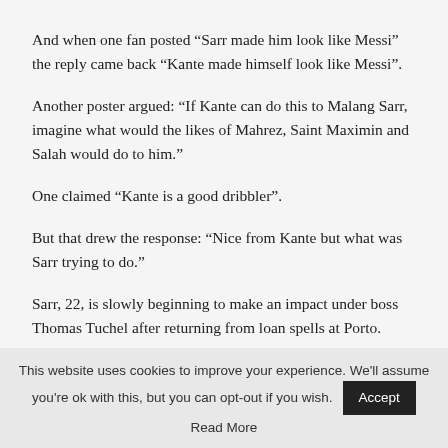And when one fan posted “Sarr made him look like Messi” the reply came back “Kante made himself look like Messi”.
Another poster argued: “If Kante can do this to Malang Sarr, imagine what would the likes of Mahrez, Saint Maximin and Salah would do to him.”
One claimed “Kante is a good dribbler”.
But that drew the response: “Nice from Kante but what was Sarr trying to do.”
Sarr, 22, is slowly beginning to make an impact under boss Thomas Tuchel after returning from loan spells at Porto.
This website uses cookies to improve your experience. We'll assume you're ok with this, but you can opt-out if you wish. Accept Read More